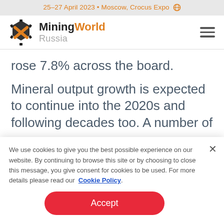25–27 April 2023 • Moscow, Crocus Expo
[Figure (logo): MiningWorld Russia logo with hexagon gear icon in black and orange, with text 'MiningWorld' in black and orange and 'Russia' in grey]
rose 7.8% across the board.
Mineral output growth is expected to continue into the 2020s and following decades too. A number of now
We use cookies to give you the best possible experience on our website. By continuing to browse this site or by choosing to close this message, you give consent for cookies to be used. For more details please read our Cookie Policy.
Accept